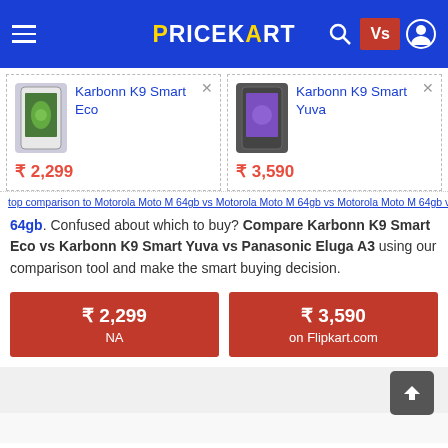PRICEKART — navigation header with hamburger menu, logo, search, Vs badge, and user icon
[Figure (screenshot): Karbonn K9 Smart Eco phone thumbnail — green leaf design on screen]
Karbonn K9 Smart Eco
₹ 2,299
[Figure (screenshot): Karbonn K9 Smart Yuva phone thumbnail — purple screen]
Karbonn K9 Smart Yuva
₹ 3,590
top comparison to Motorola Moto M 64gb vs Motorola Moto M 64gb. Confused about which to buy? Compare Karbonn K9 Smart Eco vs Karbonn K9 Smart Yuva vs Panasonic Eluga A3 using our comparison tool and make the smart buying decision.
₹ 2,299
NA
₹ 3,590
on Flipkart.com
Recent Comparisons